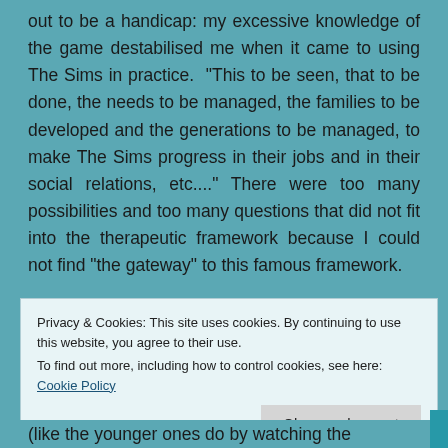out to be a handicap: my excessive knowledge of the game destabilised me when it came to using The Sims in practice.  "This to be seen, that to be done, the needs to be managed, the families to be developed and the generations to be managed, to make The Sims progress in their jobs and in their social relations, etc...." There were too many possibilities and too many questions that did not fit into the therapeutic framework because I could not find "the gateway" to this famous framework.
Privacy & Cookies: This site uses cookies. By continuing to use this website, you agree to their use.
To find out more, including how to control cookies, see here: Cookie Policy
(like the younger ones do by watching the YouTube